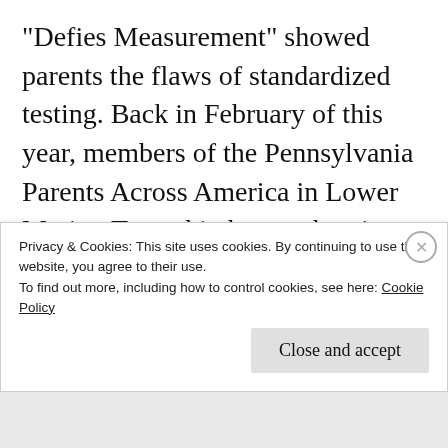“Defies Measurement” showed parents the flaws of standardized testing. Back in February of this year, members of the Pennsylvania Parents Across America in Lower Merion Township began showing the documentary to other parents. As a result, opt-outs in Pennsylvania grew bigger by the day. The Philadelphia Inquirer covered what was going on one weekend in February. One teacher from…
Privacy & Cookies: This site uses cookies. By continuing to use this website, you agree to their use.
To find out more, including how to control cookies, see here: Cookie Policy
Close and accept